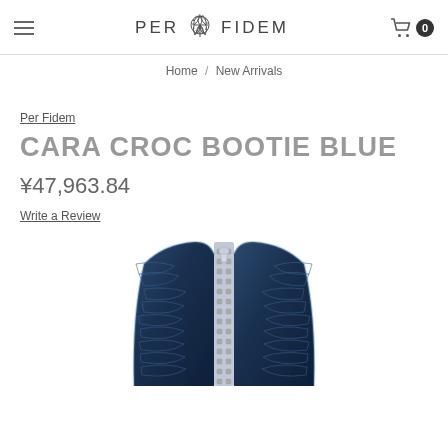PER FIDEM (logo with rose SVG) / Cart: 0
Home / New Arrivals
Per Fidem
CARA CROC BOOTIE BLUE
¥47,963.84
Write a Review
[Figure (photo): Blue croc-embossed ankle bootie with silver zipper, viewed from the top/front, showing the zip detail and textured leather surface.]